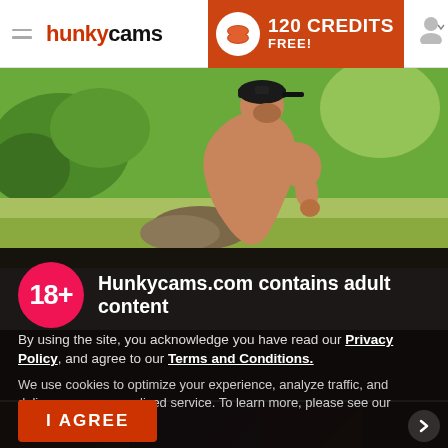hunkycams
120 CREDITS FREE!
[Figure (photo): Shirtless man wearing a black baseball cap, photographed outdoors in a sunlit green park/wooded setting, viewed from the back/side.]
18+
Hunkycams.com contains adult content
By using the site, you acknowledge you have read our Privacy Policy, and agree to our Terms and Conditions.
We use cookies to optimize your experience, analyze traffic, and deliver more personalized service. To learn more, please see our Privacy Policy.
I AGREE